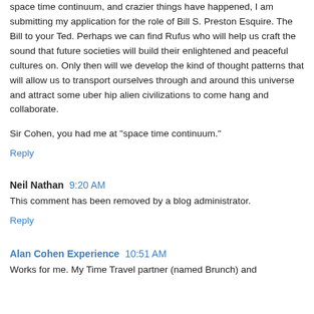space time continuum, and crazier things have happened, I am submitting my application for the role of Bill S. Preston Esquire. The Bill to your Ted. Perhaps we can find Rufus who will help us craft the sound that future societies will build their enlightened and peaceful cultures on. Only then will we develop the kind of thought patterns that will allow us to transport ourselves through and around this universe and attract some uber hip alien civilizations to come hang and collaborate.
Sir Cohen, you had me at "space time continuum."
Reply
Neil Nathan  9:20 AM
This comment has been removed by a blog administrator.
Reply
Alan Cohen Experience  10:51 AM
Works for me. My Time Travel partner (named Brunch) and